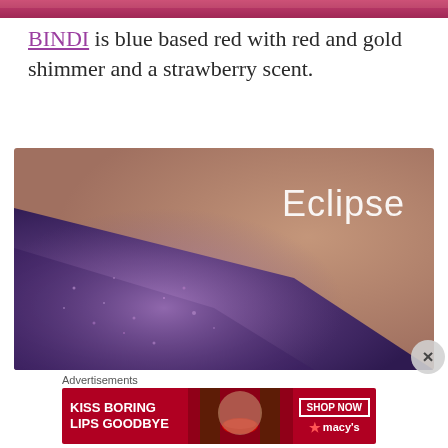[Figure (photo): Partial cropped photo strip at the very top of the page showing a reddish/pink background — top portion of a previous image.]
BINDI is blue based red with red and gold shimmer and a strawberry scent.
[Figure (photo): Close-up macro photo of purple/violet shimmery eyeshadow swatch applied on skin, with handwritten white text 'Eclipse' in the upper right corner of the image.]
Advertisements
[Figure (screenshot): Macy's advertisement banner with red background. Left side reads 'KISS BORING LIPS GOODBYE' in white bold text. Center shows a woman's face with red lipstick. Right side shows 'SHOP NOW' button and Macy's star logo.]